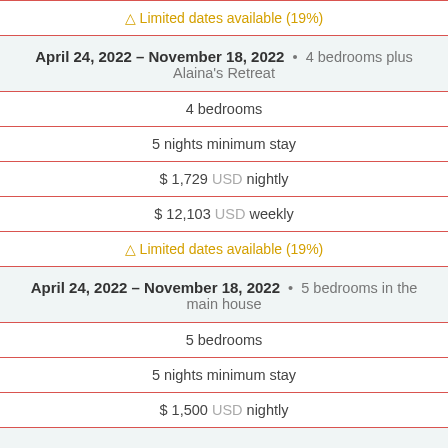| ⚠ Limited dates available (19%) |
April 24, 2022 – November 18, 2022 • 4 bedrooms plus Alaina's Retreat
| 4 bedrooms |
| 5 nights minimum stay |
| $ 1,729 USD nightly |
| $ 12,103 USD weekly |
| ⚠ Limited dates available (19%) |
April 24, 2022 – November 18, 2022 • 5 bedrooms in the main house
| 5 bedrooms |
| 5 nights minimum stay |
| $ 1,500 USD nightly |